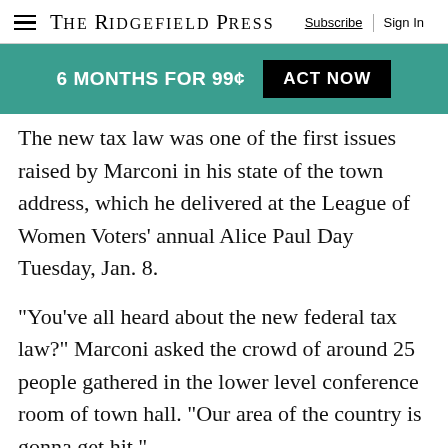THE RIDGEFIELD PRESS | Subscribe | Sign In
[Figure (infographic): Green promotional banner: '6 MONTHS FOR 99¢  ACT NOW']
The new tax law was one of the first issues raised by Marconi in his state of the town address, which he delivered at the League of Women Voters' annual Alice Paul Day Tuesday, Jan. 8.
“You’ve all heard about the new federal tax law?” Marconi asked the crowd of around 25 people gathered in the lower level conference room of town hall. “Our area of the country is gonna get hit.”